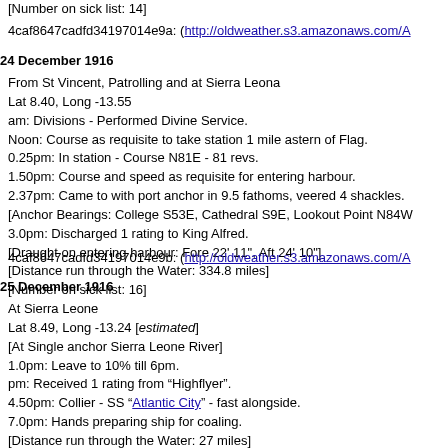[Number on sick list: 14]
4caf8647cadfd34197014e9a: (http://oldweather.s3.amazonaws.com/A
24 December 1916
From St Vincent, Patrolling and at Sierra Leona
Lat 8.40, Long -13.55
am: Divisions - Performed Divine Service.
Noon: Course as requisite to take station 1 mile astern of Flag.
0.25pm: In station - Course N81E - 81 revs.
1.50pm: Course and speed as requisite for entering harbour.
2.37pm: Came to with port anchor in 9.5 fathoms, veered 4 shackles.
[Anchor Bearings: College S53E, Cathedral S9E, Lookout Point N84W
3.0pm: Discharged 1 rating to King Alfred.
[Draught on entering harbour: Fore 22' 11", Aft 24' 10"]
[Distance run through the Water: 334.8 miles]
[Number on sick list: 16]
4caf8647cadfd34197014e9b: (http://oldweather.s3.amazonaws.com/A
25 December 1916
At Sierra Leone
Lat 8.49, Long -13.24 [estimated]
[At Single anchor Sierra Leone River]
1.0pm: Leave to 10% till 6pm.
pm: Received 1 rating from “Highflyer”.
4.50pm: Collier - SS “Atlantic City” - fast alongside.
7.0pm: Hands preparing ship for coaling.
[Distance run through the Water: 27 miles]
[Number on sick list: 19]
[Provisions received: Fresh Meat 372 lbs, Vegetables 100 lbs]